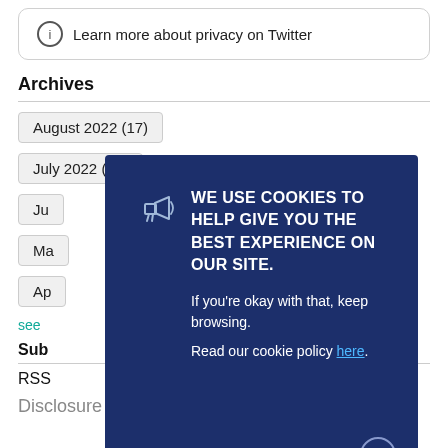Learn more about privacy on Twitter
Archives
August 2022 (17)
July 2022 (18)
Ju[ne/ly partial]
Ma[y partial]
Ap[ril partial]
see...
Sub[scribe]
RSS
Disclosure
[Figure (infographic): Cookie consent modal overlay on dark navy background with megaphone icon. Heading: WE USE COOKIES TO HELP GIVE YOU THE BEST EXPERIENCE ON OUR SITE. Body: If you're okay with that, keep browsing. Read our cookie policy here. Close button (x) in bottom right corner.]